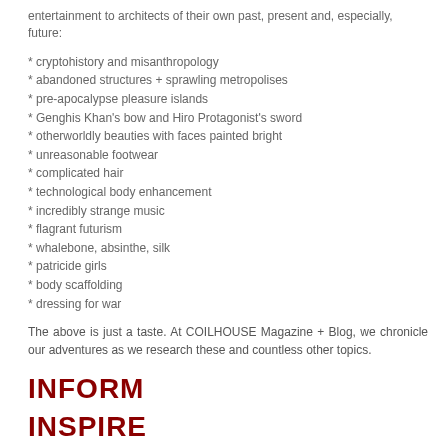entertainment to architects of their own past, present and, especially, future:
* cryptohistory and misanthropology
* abandoned structures + sprawling metropolises
* pre-apocalypse pleasure islands
* Genghis Khan's bow and Hiro Protagonist's sword
* otherworldly beauties with faces painted bright
* unreasonable footwear
* complicated hair
* technological body enhancement
* incredibly strange music
* flagrant futurism
* whalebone, absinthe, silk
* patricide girls
* body scaffolding
* dressing for war
The above is just a taste. At COILHOUSE Magazine + Blog, we chronicle our adventures as we research these and countless other topics.
INFORM
INSPIRE
INFECT